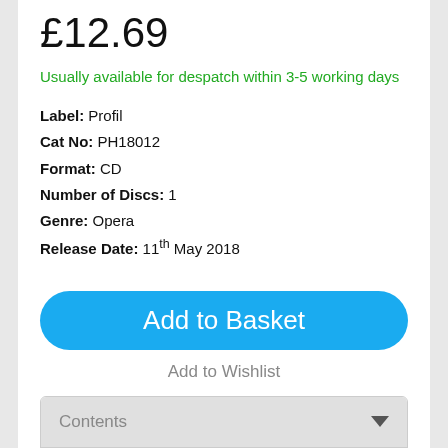£12.69
Usually available for despatch within 3-5 working days
Label: Profil
Cat No: PH18012
Format: CD
Number of Discs: 1
Genre: Opera
Release Date: 11th May 2018
Add to Basket
Add to Wishlist
Contents
About
Also Available